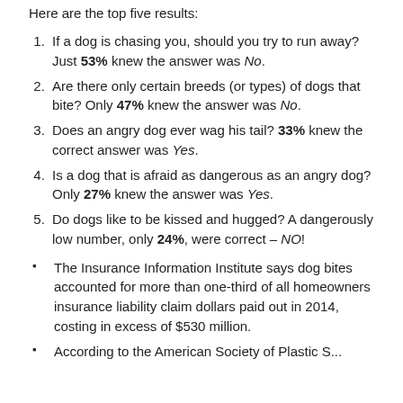Here are the top five results:
If a dog is chasing you, should you try to run away? Just 53% knew the answer was No.
Are there only certain breeds (or types) of dogs that bite? Only 47% knew the answer was No.
Does an angry dog ever wag his tail? 33% knew the correct answer was Yes.
Is a dog that is afraid as dangerous as an angry dog? Only 27% knew the answer was Yes.
Do dogs like to be kissed and hugged? A dangerously low number, only 24%, were correct – NO!
The Insurance Information Institute says dog bites accounted for more than one-third of all homeowners insurance liability claim dollars paid out in 2014, costing in excess of $530 million.
According to the American Society of Plastic S...